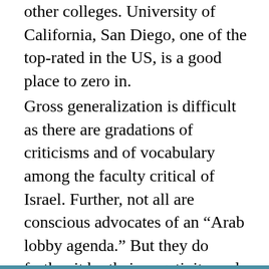other colleges. University of California, San Diego, one of the top-rated in the US, is a good place to zero in.
Gross generalization is difficult as there are gradations of criticisms and of vocabulary among the faculty critical of Israel. Further, not all are conscious advocates of an "Arab lobby agenda." But they do further it by their negativity and frequent failure to separate their criticism from the more radical charges of extreme Israel haters. This provides a coloration to Israel that makes the more outrageous accusations more plausible to those not expert. This does affect other faculty on their and other campuses with liberal or leftist leanings which makes them